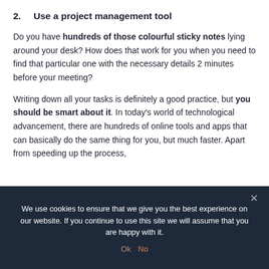2.   Use a project management tool
Do you have hundreds of those colourful sticky notes lying around your desk? How does that work for you when you need to find that particular one with the necessary details 2 minutes before your meeting?
Writing down all your tasks is definitely a good practice, but you should be smart about it. In today's world of technological advancement, there are hundreds of online tools and apps that can basically do the same thing for you, but much faster. Apart from speeding up the process,
We use cookies to ensure that we give you the best experience on our website. If you continue to use this site we will assume that you are happy with it.